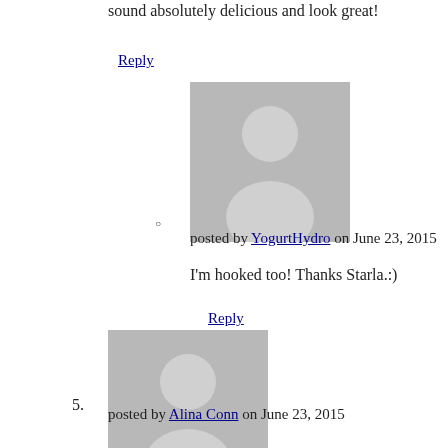sound absolutely delicious and look great!
Reply
[Figure (photo): Default user avatar placeholder (grey silhouette) for sub-comment]
posted by YogurtHydro on June 23, 2015
I'm hooked too! Thanks Starla.:)
Reply
[Figure (photo): Default user avatar placeholder (grey silhouette) for comment 5]
5.
posted by Alina Conn on June 23, 2015
Have never tried these but will. Our family loves foods with a lot of spice and heat. These sound delicious!
Reply
[Figure (photo): Default user avatar placeholder (grey silhouette) partially visible at bottom]